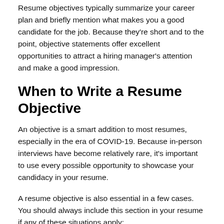Resume objectives typically summarize your career plan and briefly mention what makes you a good candidate for the job. Because they're short and to the point, objective statements offer excellent opportunities to attract a hiring manager's attention and make a good impression.
When to Write a Resume Objective
An objective is a smart addition to most resumes, especially in the era of COVID-19. Because in-person interviews have become relatively rare, it's important to use every possible opportunity to showcase your candidacy in your resume.
A resume objective is also essential in a few cases. You should always include this section in your resume if any of these situations apply: